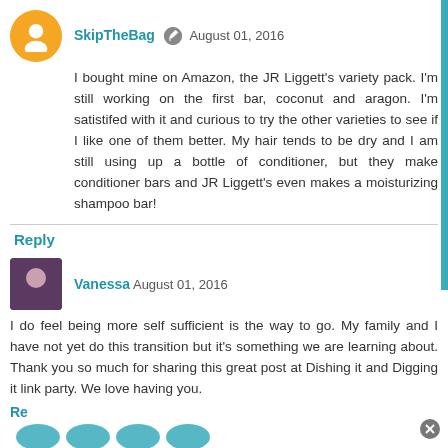SkipTheBag  August 01, 2016
I bought mine on Amazon, the JR Liggett's variety pack. I'm still working on the first bar, coconut and aragon. I'm satistifed with it and curious to try the other varieties to see if I like one of them better. My hair tends to be dry and I am still using up a bottle of conditioner, but they make conditioner bars and JR Liggett's even makes a moisturizing shampoo bar!
Reply
Vanessa  August 01, 2016
I do feel being more self sufficient is the way to go. My family and I have not yet do this transition but it's something we are learning about. Thank you so much for sharing this great post at Dishing it and Digging it link party. We love having you.